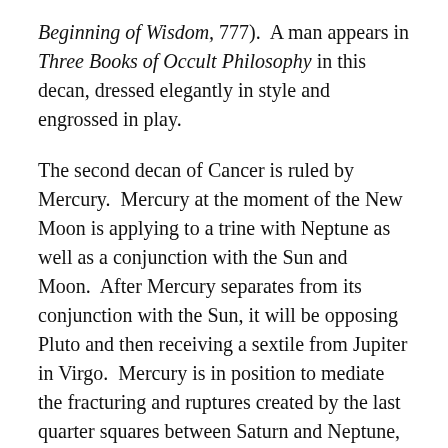Beginning of Wisdom, 777).  A man appears in Three Books of Occult Philosophy in this decan, dressed elegantly in style and engrossed in play.
The second decan of Cancer is ruled by Mercury.  Mercury at the moment of the New Moon is applying to a trine with Neptune as well as a conjunction with the Sun and Moon.  After Mercury separates from its conjunction with the Sun, it will be opposing Pluto and then receiving a sextile from Jupiter in Virgo.  Mercury is in position to mediate the fracturing and ruptures created by the last quarter squares between Saturn and Neptune, and Saturn and Jupiter.  Though current aspects, if with due attention, can be used